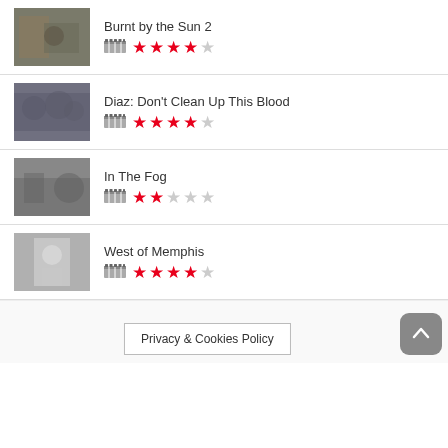Burnt by the Sun 2, rating: 4/5 stars
Diaz: Don't Clean Up This Blood, rating: 4/5 stars
In The Fog, rating: 2/5 stars
West of Memphis, rating: 4/5 stars
Privacy & Cookies Policy